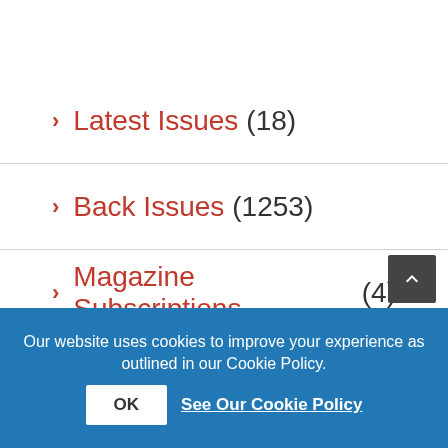Latest Issues (18)
Back Issues (1253)
Magazine Subscriptions (4)
Featured Specials (4)
Books (243)
Bookazines (6)
Merchandise (22)
Our website uses cookies to improve your experience as outlined in our Cookie Policy. OK See Our Cookie Policy